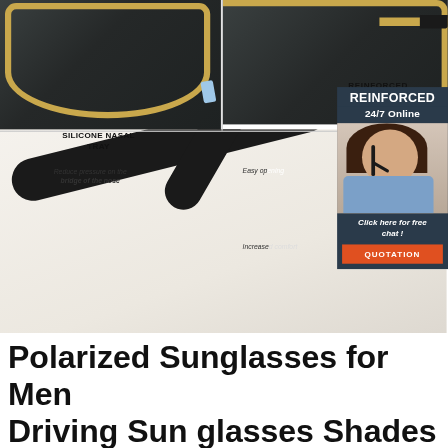[Figure (photo): Product detail images of polarized sunglasses showing silicone nasal tray, gold frame, dark lenses, and black temple arms. Overlaid with a live chat widget showing a woman with headset and buttons for 24/7 Online chat and QUOTATION.]
Polarized Sunglasses for Men Driving Sun glasses Shades
Find many great new & used options and get the best